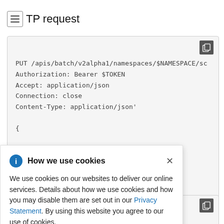TP request
[Figure (screenshot): Code block showing HTTP PUT request with headers: PUT /apis/batch/v2alpha1/namespaces/$NAMESPACE/sc, Authorization: Bearer $TOKEN, Accept: application/json, Connection: close, Content-Type: application/json', {]
How we use cookies
We use cookies on our websites to deliver our online services. Details about how we use cookies and how you may disable them are set out in our Privacy Statement. By using this website you agree to our use of cookies.
[Figure (screenshot): Code block showing: $ curl -k \]